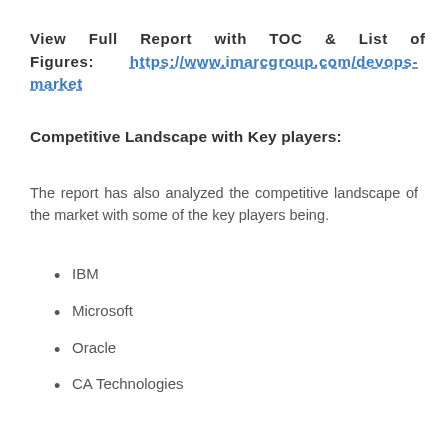View Full Report with TOC & List of Figures: https://www.imarcgroup.com/devops-market
Competitive Landscape with Key players:
The report has also analyzed the competitive landscape of the market with some of the key players being.
IBM
Microsoft
Oracle
CA Technologies